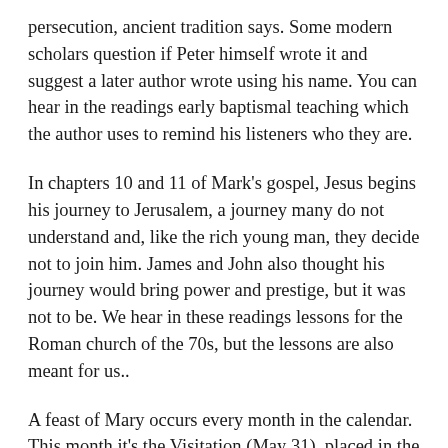persecution, ancient tradition says. Some modern scholars question if Peter himself wrote it and suggest a later author wrote using his name. You can hear in the readings early baptismal teaching which the author uses to remind his listeners who they are.
In chapters 10 and 11 of Mark's gospel, Jesus begins his journey to Jerusalem, a journey many do not understand and, like the rich young man, they decide not to join him. James and John also thought his journey would bring power and prestige, but it was not to be. We hear in these readings lessons for the Roman church of the 70s, but the lessons are also meant for us..
A feast of Mary occurs every month in the calendar. This month it's the Visitation (May 31), placed in the calendar between the Feast of the Annunciation (March 15) and the Birth of John the Baptist (June 24) We're reminded of Mary's role as a bearer of good news to her older cousin Elizabeth